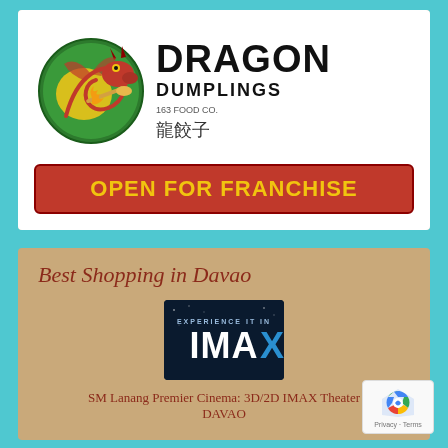[Figure (logo): Dragon Dumplings 168 Food Co. logo with red dragon illustration, Chinese characters 龍餃子, and red 'OPEN FOR FRANCHISE' banner]
Best Shopping in Davao
[Figure (logo): IMAX Experience It In IMAX logo on dark blue background]
SM Lanang Premier Cinema: 3D/2D IMAX Theater DAVAO